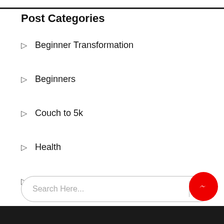Post Categories
Beginner Transformation
Beginners
Couch to 5k
Health
Injury Prevention
Search Here...
[Figure (other): Facebook Messenger floating button (red circle with messenger icon)]